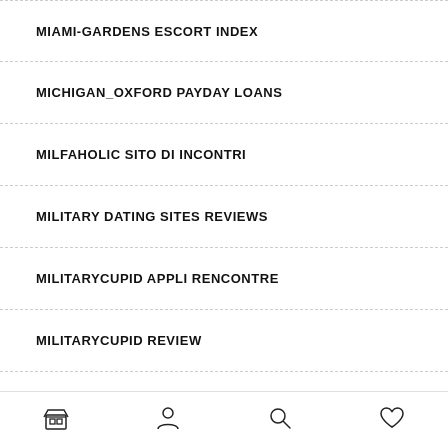MIAMI-GARDENS ESCORT INDEX
MICHIGAN_OXFORD PAYDAY LOANS
MILFAHOLIC SITO DI INCONTRI
MILITARY DATING SITES REVIEWS
MILITARYCUPID APPLI RENCONTRE
MILITARYCUPID REVIEW
MILITARYCUPID REVIEWS
MILWAUKEE ESCORT
Navigation bar with home, profile, search, and favorites icons